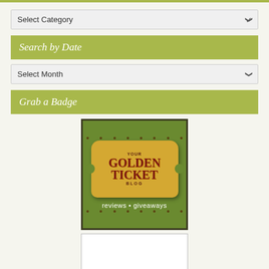[Figure (screenshot): Top colored bar - olive green]
Select Category
Search by Date
Select Month
Grab a Badge
[Figure (illustration): Golden Ticket Blog badge image - olive green background with golden ticket shape, text: YOUR GOLDEN TICKET BLOG, reviews • giveaways]
[Figure (illustration): Extra Lucky Link List badge - partial view at bottom]